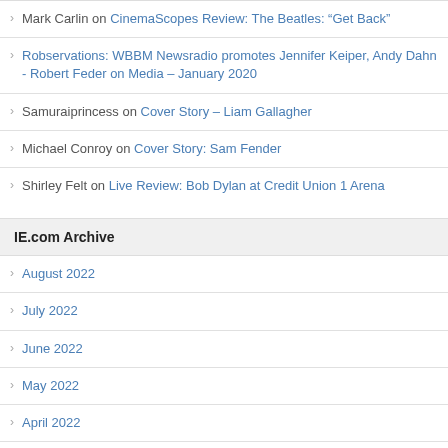Mark Carlin on CinemaScopes Review: The Beatles: “Get Back”
Robservations: WBBM Newsradio promotes Jennifer Keiper, Andy Dahn - Robert Feder on Media – January 2020
Samuraiprincess on Cover Story – Liam Gallagher
Michael Conroy on Cover Story: Sam Fender
Shirley Felt on Live Review: Bob Dylan at Credit Union 1 Arena
IE.com Archive
August 2022
July 2022
June 2022
May 2022
April 2022
March 2022
February 2022
January 2022